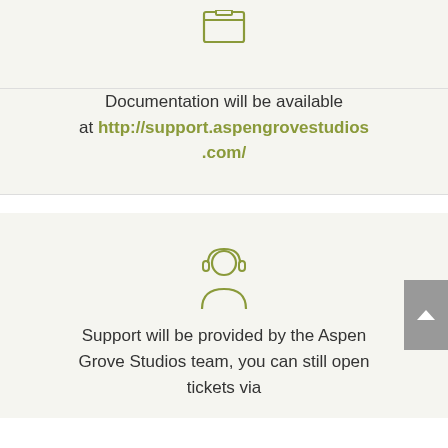[Figure (illustration): Document/book icon in olive/green outline style at the top of the first section]
Documentation will be available at http://support.aspengrovestudios.com/
[Figure (illustration): Customer support / headset person icon in olive/green outline style]
Support will be provided by the Aspen Grove Studios team, you can still open tickets via